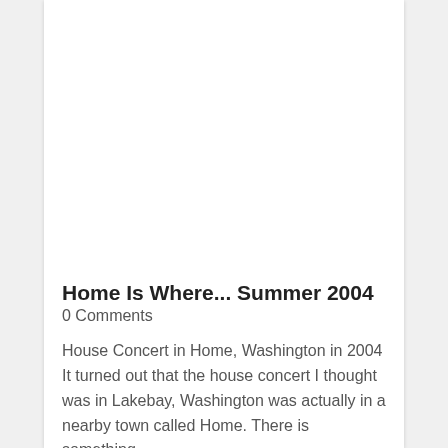[Figure (photo): Large white/blank image area at the top of a blog post card]
Home Is Where... Summer 2004
0 Comments
House Concert in Home, Washington in 2004 It turned out that the house concert I thought was in Lakebay, Washington was actually in a nearby town called Home. There is something